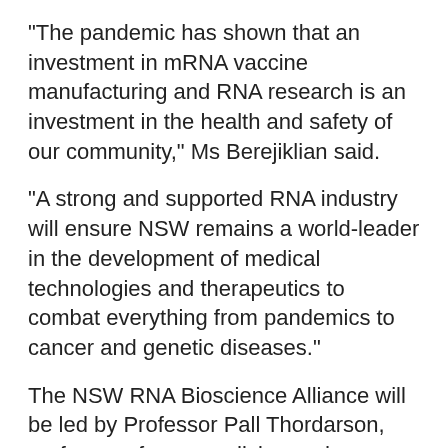"The pandemic has shown that an investment in mRNA vaccine manufacturing and RNA research is an investment in the health and safety of our community," Ms Berejiklian said.
"A strong and supported RNA industry will ensure NSW remains a world-leader in the development of medical technologies and therapeutics to combat everything from pandemics to cancer and genetic diseases."
The NSW RNA Bioscience Alliance will be led by Professor Pall Thordarson, professor of nanomedicine and synthetic chemistry at UNSW Sydney, and will report to the NSW Vice-Chancellors' Committee to coordinate collaborative work across the NSW RNA ecosystem.
The NSW RNA Production and Research Network